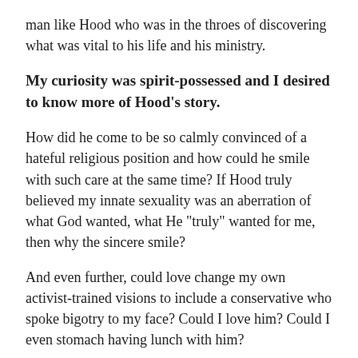man like Hood who was in the throes of discovering what was vital to his life and his ministry.
My curiosity was spirit-possessed and I desired to know more of Hood’s story.
How did he come to be so calmly convinced of a hateful religious position and how could he smile with such care at the same time? If Hood truly believed my innate sexuality was an aberration of what God wanted, what He “truly” wanted for me, then why the sincere smile?
And even further, could love change my own activist-trained visions to include a conservative who spoke bigotry to my face? Could I love him? Could I even stomach having lunch with him?
My relationship with Jeff has been one of rapid movement